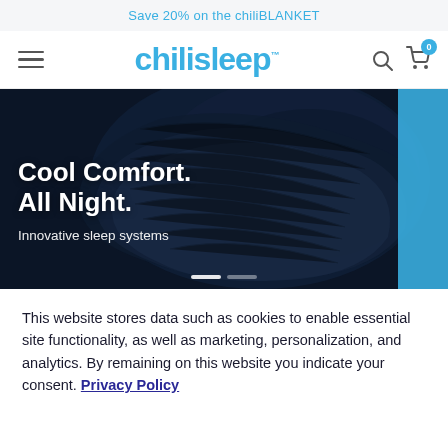Save 20% on the chiliBLANKET
[Figure (logo): Chilisleep logo with hamburger menu, search icon, and cart icon with badge 0]
[Figure (photo): Dark navy blue rolled/bundled fabric against dark background with blue accent on right. Text overlay: Cool Comfort. All Night. Innovative sleep systems]
This website stores data such as cookies to enable essential site functionality, as well as marketing, personalization, and analytics. By remaining on this website you indicate your consent. Privacy Policy